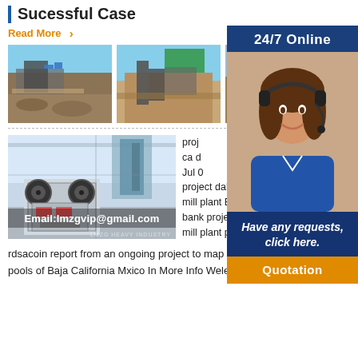Sucessful Case
Read More >
[Figure (photo): Three industrial mining/crushing plant site photos side by side]
[Figure (photo): Industrial jaw crusher machine in a modern factory hall with Email:lmzgvip@gmail.com overlay]
proj... ca d... Jul 0... project dal and besan mill plant Besan mill bank project besan mill plant project report
rdsacoin report from an ongoing project to map and assess the vernal pools of Baja California Mxico In More Info Wele to
[Figure (photo): 24/7 Online customer service representative overlay panel with Quotation button]